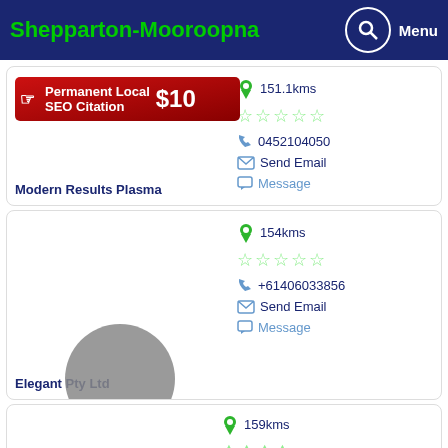Shepparton-Mooroopna
[Figure (infographic): Ad banner: Permanent Local SEO Citation $10]
151.1kms
☆☆☆☆☆
0452104050
Send Email
Message
Modern Results Plasma
154kms
☆☆☆☆☆
+61406033856
Send Email
Message
Elegant Pty Ltd
159kms